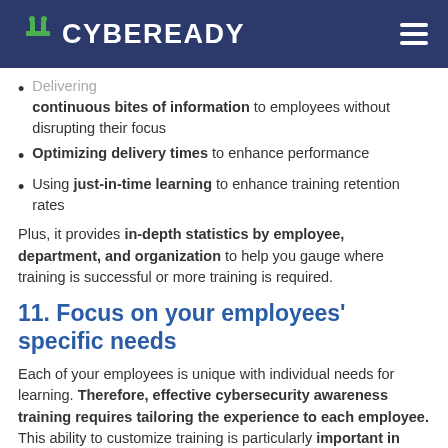CYBEREADY
Delivering continuous bites of information to employees without disrupting their focus
Optimizing delivery times to enhance performance
Using just-in-time learning to enhance training retention rates
Plus, it provides in-depth statistics by employee, department, and organization to help you gauge where training is successful or more training is required.
11. Focus on your employees' specific needs
Each of your employees is unique with individual needs for learning. Therefore, effective cybersecurity awareness training requires tailoring the experience to each employee. This ability to customize training is particularly important in global organizations where personnel speak multiple languages and come from varied ethnic and cultural backgrounds. To meet these varied needs, cybersecurity training requires clear,